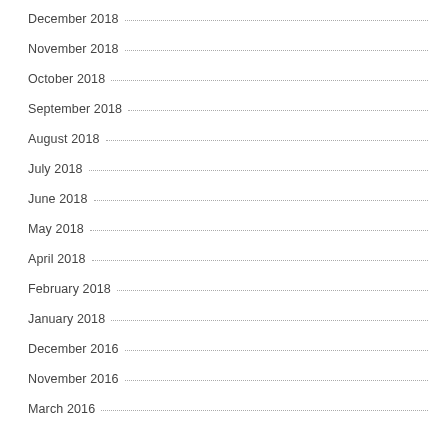December 2018
November 2018
October 2018
September 2018
August 2018
July 2018
June 2018
May 2018
April 2018
February 2018
January 2018
December 2016
November 2016
March 2016